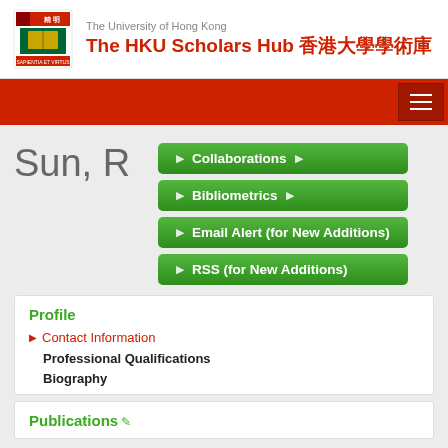The University of Hong Kong
The HKU Scholars Hub 香港大學學術庫
Sun, R
Collaborations
Bibliometrics
Email Alert (for New Additions)
RSS (for New Additions)
Profile
Contact Information
Professional Qualifications
Biography
Publications